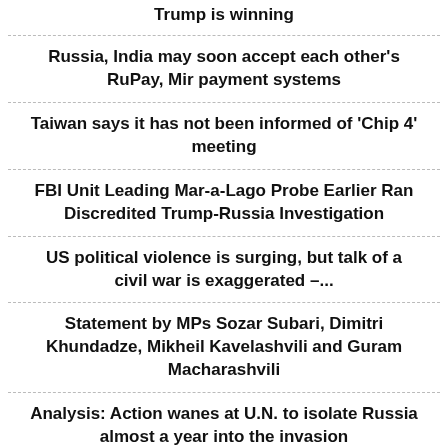Trump is winning
Russia, India may soon accept each other's RuPay, Mir payment systems
Taiwan says it has not been informed of 'Chip 4' meeting
FBI Unit Leading Mar-a-Lago Probe Earlier Ran Discredited Trump-Russia Investigation
US political violence is surging, but talk of a civil war is exaggerated –...
Statement by MPs Sozar Subari, Dimitri Khundadze, Mikheil Kavelashvili and Guram Macharashvili
Analysis: Action wanes at U.N. to isolate Russia almost a year into the invasion